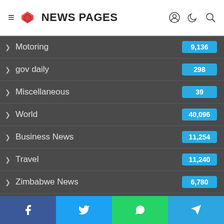NEWS PAGES
Motoring
gov daily
Miscellaneous
World
Business News
Travel
Zimbabwe News
Botswana News
Africa
Namibia News
Zambia News